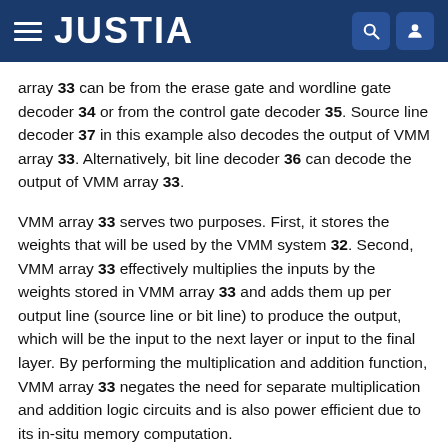JUSTIA
array 33 can be from the erase gate and wordline gate decoder 34 or from the control gate decoder 35. Source line decoder 37 in this example also decodes the output of VMM array 33. Alternatively, bit line decoder 36 can decode the output of VMM array 33.
VMM array 33 serves two purposes. First, it stores the weights that will be used by the VMM system 32. Second, VMM array 33 effectively multiplies the inputs by the weights stored in VMM array 33 and adds them up per output line (source line or bit line) to produce the output, which will be the input to the next layer or input to the final layer. By performing the multiplication and addition function, VMM array 33 negates the need for separate multiplication and addition logic circuits and is also power efficient due to its in-situ memory computation.